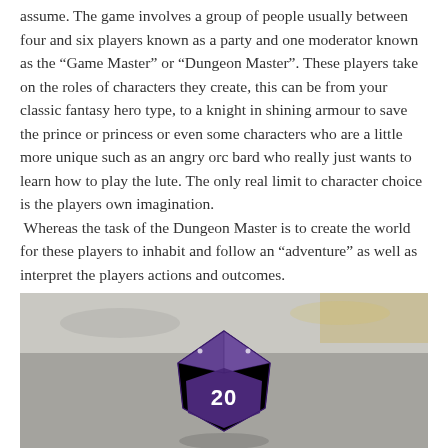assume.  The game involves a group of people usually between four and six players known as a party and one moderator known as the “Game Master” or “Dungeon Master”.  These players take on the roles of characters they create, this can be from your classic fantasy hero type, to a knight in shining armour to save the prince or princess or even some characters who are a little more unique such as an angry orc bard who really just wants to learn how to play the lute.  The only real limit to character choice is the players own imagination.  Whereas the task of the Dungeon Master is to create the world for these players to inhabit and follow an “adventure” as well as interpret the players actions and outcomes.
[Figure (photo): A photograph of a purple 20-sided die (d20) showing the number 20, resting on a light-colored surface.]